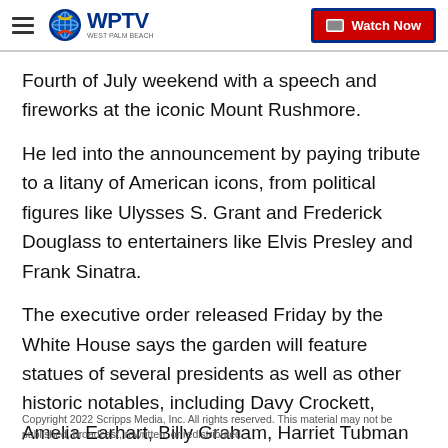WPTV — Watch Now
Fourth of July weekend with a speech and fireworks at the iconic Mount Rushmore.
He led into the announcement by paying tribute to a litany of American icons, from political figures like Ulysses S. Grant and Frederick Douglass to entertainers like Elvis Presley and Frank Sinatra.
The executive order released Friday by the White House says the garden will feature statues of several presidents as well as other historic notables, including Davy Crockett, Amelia Earhart, Billy Graham, Harriet Tubman and Orville and Wilbur Wright.
Copyright 2022 Scripps Media, Inc. All rights reserved. This material may not be published, broadcast, rewritten, or redistributed.